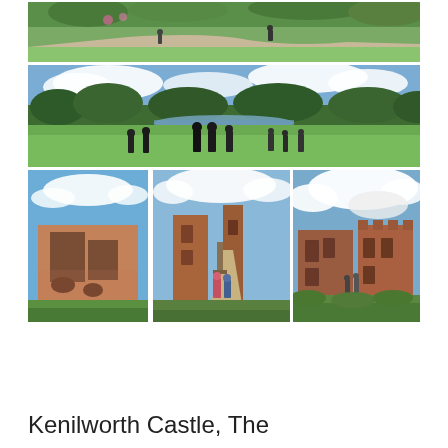[Figure (photo): Top photo: wide landscape shot of green garden hillside with trees, sandy path, and people walking among lush vegetation]
[Figure (photo): Middle wide panoramic photo: open green meadow with a calm lake or pond in the background, surrounded by trees under cloudy blue sky, with several people standing in the foreground with their backs to the camera]
[Figure (photo): Bottom-left photo: close-up of ruined red sandstone castle wall with arched gothic windows against blue sky]
[Figure (photo): Bottom-center photo: view of ruined castle tower and walls from a garden path with two people walking toward it]
[Figure (photo): Bottom-right photo: wider view of ruined castle walls and towers against a dramatic cloudy blue sky with vegetation in foreground]
Kenilworth Castle, The